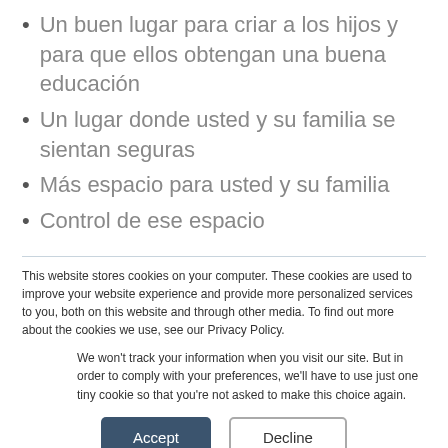Un buen lugar para criar a los hijos y para que ellos obtengan una buena educación
Un lugar donde usted y su familia se sientan seguras
Más espacio para usted y su familia
Control de ese espacio
This website stores cookies on your computer. These cookies are used to improve your website experience and provide more personalized services to you, both on this website and through other media. To find out more about the cookies we use, see our Privacy Policy.
We won't track your information when you visit our site. But in order to comply with your preferences, we'll have to use just one tiny cookie so that you're not asked to make this choice again.